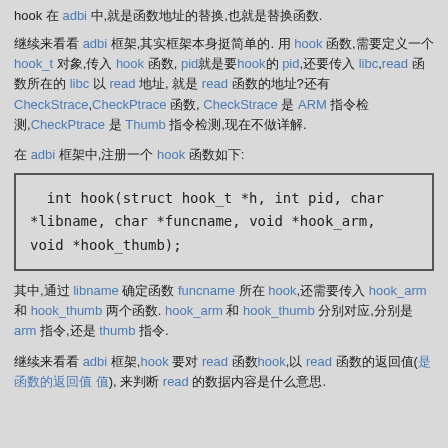hook 在 adbi 中,就是函数地址的替换,也就是替换函数.
继续来看看 adbi 框架,其实框架本身挺简单的. 用 hook 函数,需要定义一个 hook_t 对象,传入 hook 函数, pid就是要hook的 pid,还要传入 libc,read 函数所在的 libc 以 read 地址, 就是 read 函数的地址?还有 CheckStrace,CheckPtrace 函数, CheckStrace 是 ARM 指令检测,CheckPtrace 是 Thumb 指令检测,现在不做详解.
在 adbi 框架中,注册一个 hook 函数如下:
int hook(struct hook_t *h, int pid, char *libname, char *funcname, void *hook_arm, void *hook_thumb);
其中,通过 libname 确定函数 funcname 所在 hook,还需要传入 hook_arm 和 hook_thumb 两个函数. hook_arm 和 hook_thumb 分别对应,分别是 arm 指令,还是 thumb 指令.
继续来看看 adbi 框架,hook 要对 read 函数hook,以 read 函数的返回值(是函数的返回值), 来判断 read 的数据内容是什么意思.